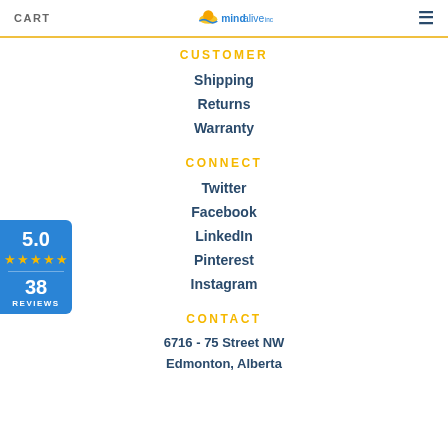CART | mindalive inc
CUSTOMER
Shipping
Returns
Warranty
CONNECT
Twitter
Facebook
LinkedIn
Pinterest
Instagram
[Figure (infographic): Blue badge widget showing 5.0 rating with 5 gold stars and 38 reviews]
CONTACT
6716 - 75 Street NW
Edmonton, Alberta